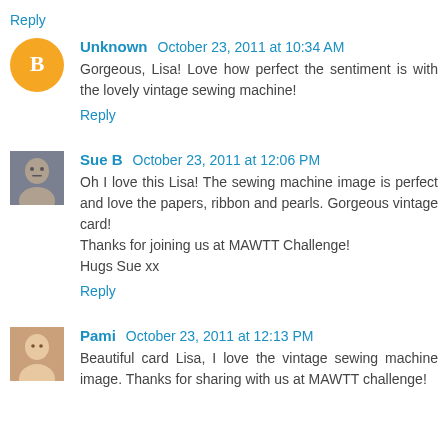Reply
Unknown  October 23, 2011 at 10:34 AM
Gorgeous, Lisa! Love how perfect the sentiment is with the lovely vintage sewing machine!
Reply
Sue B  October 23, 2011 at 12:06 PM
Oh I love this Lisa! The sewing machine image is perfect and love the papers, ribbon and pearls. Gorgeous vintage card!
Thanks for joining us at MAWTT Challenge!
Hugs Sue xx
Reply
Pami  October 23, 2011 at 12:13 PM
Beautiful card Lisa, I love the vintage sewing machine image. Thanks for sharing with us at MAWTT challenge!